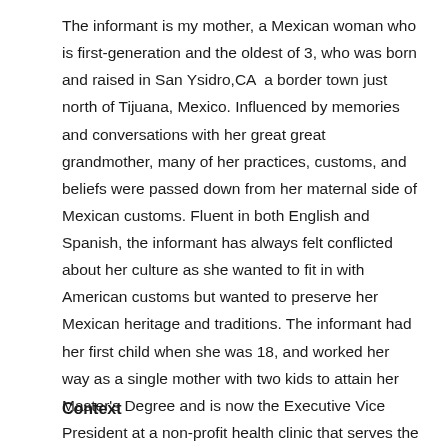The informant is my mother, a Mexican woman who is first-generation and the oldest of 3, who was born and raised in San Ysidro,CA  a border town just north of Tijuana, Mexico. Influenced by memories and conversations with her great great grandmother, many of her practices, customs, and beliefs were passed down from her maternal side of Mexican customs. Fluent in both English and Spanish, the informant has always felt conflicted about her culture as she wanted to fit in with American customs but wanted to preserve her Mexican heritage and traditions. The informant had her first child when she was 18, and worked her way as a single mother with two kids to attain her Master's Degree and is now the Executive Vice President at a non-profit health clinic that serves the community she was raised in.
Context